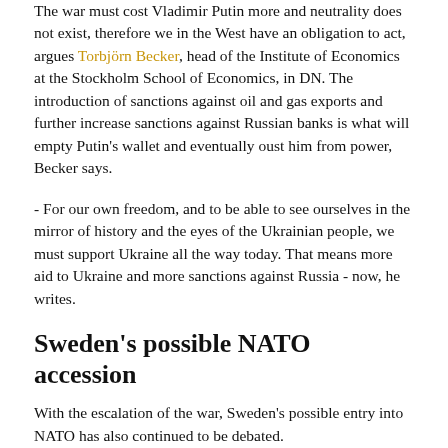The war must cost Vladimir Putin more and neutrality does not exist, therefore we in the West have an obligation to act, argues Torbjörn Becker, head of the Institute of Economics at the Stockholm School of Economics, in DN. The introduction of sanctions against oil and gas exports and further increase sanctions against Russian banks is what will empty Putin's wallet and eventually oust him from power, Becker says.
- For our own freedom, and to be able to see ourselves in the mirror of history and the eyes of the Ukrainian people, we must support Ukraine all the way today. That means more aid to Ukraine and more sanctions against Russia - now, he writes.
Sweden's possible NATO accession
With the escalation of the war, Sweden's possible entry into NATO has also continued to be debated.
- A Swedish NATO accession would be a betrayal of